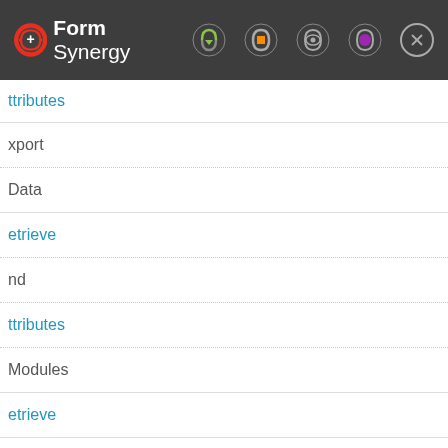Form Synergy — navigation bar with logo and icons
Attributes
Export   api
Data   api
Retrieve
nd
Attributes
Modules   api
Retrieve
[Figure (illustration): Dark grey panel with a faded group-of-users icon (two people silhouettes under a semicircle arc)]
e cookies and other browser storage onStorage, in order to store user